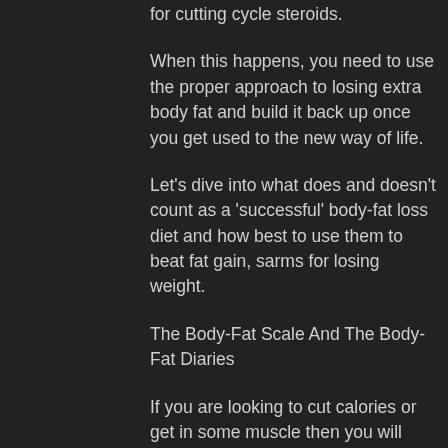for cutting cycle steroids.
When this happens, you need to use the proper approach to losing extra body fat and build it back up once you get used to the new way of life.
Let's dive into what does and doesn't count as a 'successful' body-fat loss diet and how best to use them to beat fat gain, sarms for losing weight.
The Body-Fat Scale And The Body-Fat Diaries
If you are looking to cut calories or get in some muscle then you will want to understand what the body-fat scale and the body-fat diary is all about.
The body-fat scale lets you check your body-fat percentage and what your body fat is